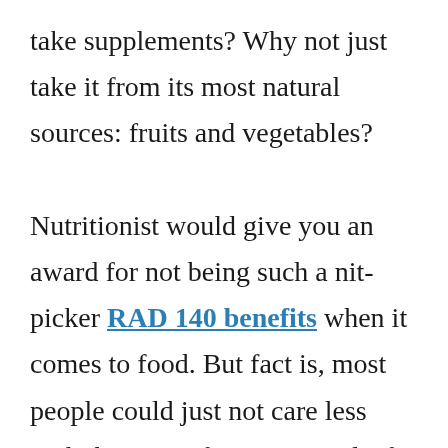take supplements? Why not just take it from its most natural sources: fruits and vegetables?

Nutritionist would give you an award for not being such a nit-picker RAD 140 benefits when it comes to food. But fact is, most people could just not care less with the taste of some green leafy vegetables and some yellow-ish and orange-y fruits. We could not hold that against them for we are born with different palates.